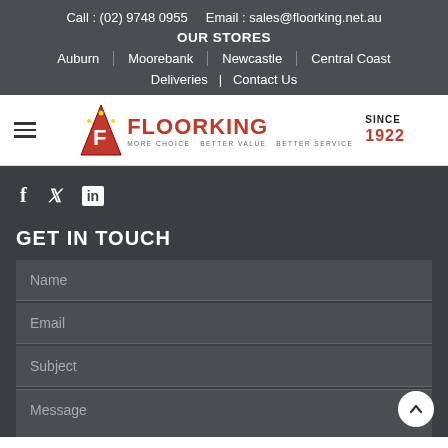Call : (02) 9748 0955   Email : sales@floorking.net.au
OUR STORES
Auburn | Moorebank | Newcastle | Central Coast
Deliveries | Contact Us
[Figure (logo): Floorking logo with red triangle-F emblem and 'Since 1922' text. Tagline: More Choice Better Value Better Service]
f (Facebook), Twitter, in (LinkedIn) social icons
GET IN TOUCH
Name (form field placeholder)
Email (form field placeholder)
Subject (form field placeholder)
Message (form field placeholder)